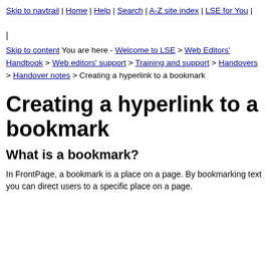Skip to navtrail | Home | Help | Search | A-Z site index | LSE for You |
|
Skip to content You are here - Welcome to LSE > Web Editors' Handbook > Web editors' support > Training and support > Handovers > Handover notes > Creating a hyperlink to a bookmark
Creating a hyperlink to a bookmark
What is a bookmark?
In FrontPage, a bookmark is a place on a page. By bookmarking text you can direct users to a specific place on a page.